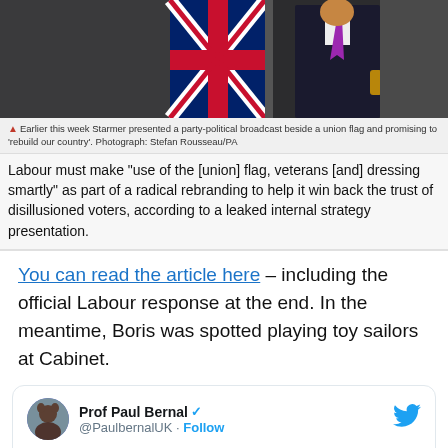[Figure (photo): Photo of a person in a dark suit with a pink/purple tie, standing near a Union Jack flag in what appears to be an indoor setting with dark background]
Earlier this week Starmer presented a party-political broadcast beside a union flag and promising to 'rebuild our country'. Photograph: Stefan Rousseau/PA
Labour must make "use of the [union] flag, veterans [and] dressing smartly" as part of a radical rebranding to help it win back the trust of disillusioned voters, according to a leaked internal strategy presentation.
You can read the article here – including the official Labour response at the end. In the meantime, Boris was spotted playing toy sailors at Cabinet.
[Figure (screenshot): Embedded tweet from Prof Paul Bernal (@PaulbernalUK) with verified badge and Follow button. Tweet text: We're governed by toddlers. Contains a nested tweet from John Rentoul (@JohnRentoul) with verified badge.]